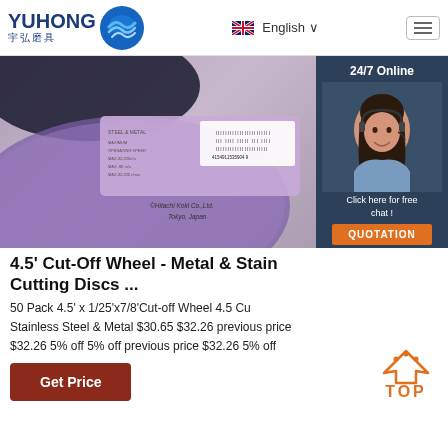YUHONG 宇弘磨具 | English | Menu
[Figure (photo): Close-up photo of a 4.5 inch abrasive cut-off wheel showing barcode label and Hitachi Koki Co., Ltd. Tokyo, Japan text, with a dark blue/black grinding disc visible. Overlaid on the right is a customer service chat panel with a woman wearing a headset (24/7 Online), 'Click here for free chat!' text and QUOTATION button.]
4.5' Cut-Off Wheel - Metal & Stain Cutting Discs ...
50 Pack 4.5' x 1/25'x7/8'Cut-off Wheel 4.5 Cu Stainless Steel & Metal $30.65 $32.26 previous price $32.26 5% off 5% off previous price $32.26 5% off
Get Price
[Figure (illustration): Orange TOP arrow icon with orange text 'TOP' below it]